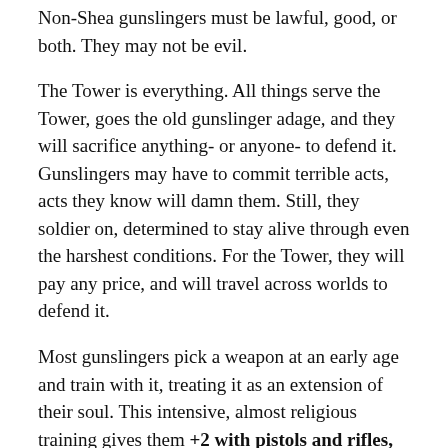Non-Shea gunslingers must be lawful, good, or both. They may not be evil.
The Tower is everything. All things serve the Tower, goes the old gunslinger adage, and they will sacrifice anything- or anyone- to defend it. Gunslingers may have to commit terrible acts, acts they know will damn them. Still, they soldier on, determined to stay alive through even the harshest conditions. For the Tower, they will pay any price, and will travel across worlds to defend it.
Most gunslingers pick a weapon at an early age and train with it, treating it as an extension of their soul. This intensive, almost religious training gives them +2 with pistols and rifles, and -1 to their initiative in combat, for every 3 XP levels. Usually these are ancestral six-shooters (d6 dmg, see six-shooter rules below), forged long ago from the swords of their ancestors. However, gunslingers are nothing if not practical survivalists, and they seek